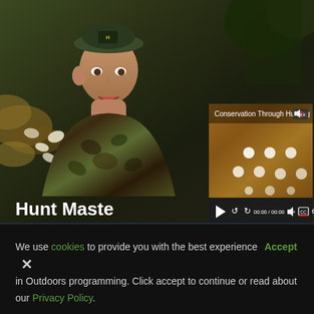[Figure (screenshot): A screenshot of a hunting website showing a video player. The background shows a man in camouflage gear and a baseball cap in a forest setting. An embedded video titled 'Conservation Through Hunting' is overlaid on the right side with video controls showing 00:00 / 00:00 and icons for play, rewind, forward, volume, CC, settings, and fullscreen. The text 'Hunt Maste' appears in bold white at the bottom left of the video section.]
We use cookies to provide you with the best experience in Outdoors programming. Click accept to continue or read about our Privacy Policy.